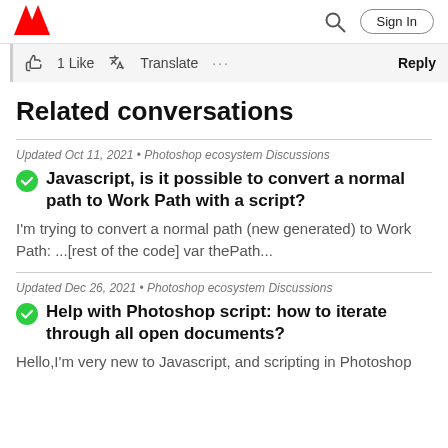Adobe | Sign In
1 Like  Translate  ...  Reply
Related conversations
Updated Oct 11, 2021  •  Photoshop ecosystem Discussions
Javascript, is it possible to convert a normal path to Work Path with a script?
I'm trying to convert a normal path (new generated) to Work Path: ...[rest of the code] var thePath...
Updated Dec 26, 2021  •  Photoshop ecosystem Discussions
Help with Photoshop script: how to iterate through all open documents?
Hello,I'm very new to Javascript, and scripting in Photoshop